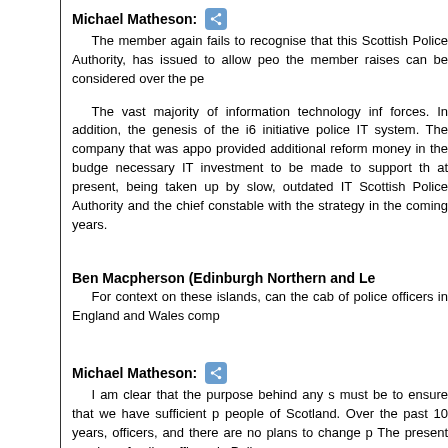Michael Matheson: The member again fails to recognise that this Scottish Police Authority, has issued to allow people the member raises can be considered over the pe
The vast majority of information technology inf forces. In addition, the genesis of the i6 initiative police IT system. The company that was appo provided additional reform money in the budge necessary IT investment to be made to support th at present, being taken up by slow, outdated IT Scottish Police Authority and the chief constable with the strategy in the coming years.
Ben Macpherson (Edinburgh Northern and Le For context on these islands, can the cab of police officers in England and Wales comp
Michael Matheson: I am clear that the purpose behind any s must be to ensure that we have sufficient p people of Scotland. Over the past 10 years, officers, and there are no plans to change p The present number of police officers in Poli
I will not accept a strategy that follows the England and Wales, which has destroyed some the least 140,000 police officers across the